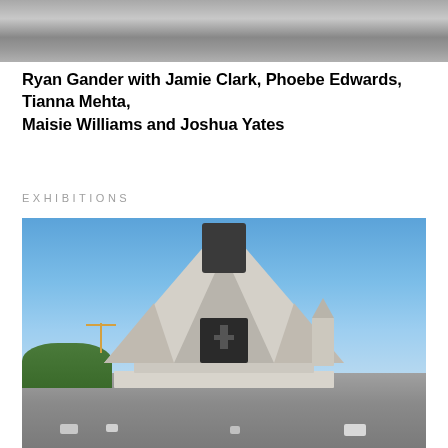[Figure (photo): Top portion of a photo showing a cloudy sky, cropped at the top of the page]
Ryan Gander with Jamie Clark, Phoebe Edwards, Tianna Mehta, Maisie Williams and Joshua Yates
EXHIBITIONS
[Figure (photo): Photograph of Liverpool Metropolitan Cathedral under a clear blue sky, viewed from a rooftop plaza with concrete paving slabs and several stone/concrete bollards or blocks in the foreground. Trees visible on the left side, a construction crane in the background left. The cathedral's distinctive circular crown tower with metal spires is prominent at center.]